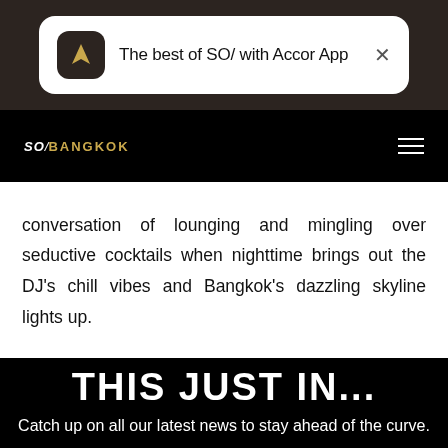[Figure (screenshot): App notification banner: Accor app logo with text 'The best of SO/ with Accor App' and a close button]
SO/ BANGKOK
conversation of lounging and mingling over seductive cocktails when nighttime brings out the DJ's chill vibes and Bangkok's dazzling skyline lights up.
THIS JUST IN...
Catch up on all our latest news to stay ahead of the curve.